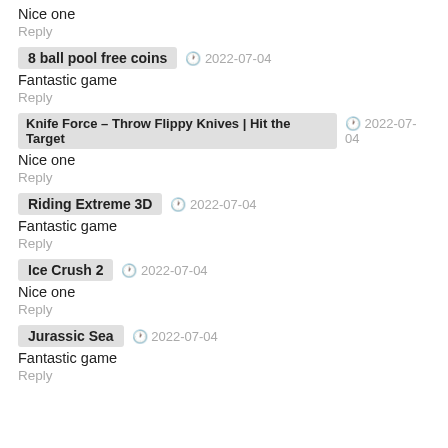Nice one
Reply
8 ball pool free coins  2022-07-04
Fantastic game
Reply
Knife Force – Throw Flippy Knives | Hit the Target  2022-07-04
Nice one
Reply
Riding Extreme 3D  2022-07-04
Fantastic game
Reply
Ice Crush 2  2022-07-04
Nice one
Reply
Jurassic Sea  2022-07-04
Fantastic game
Reply